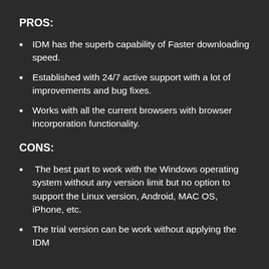PROS:
IDM has the superb capability of Faster downloading speed.
Established with 24/7 active support with a lot of improvements and bug fixes.
Works with all the current browsers with browser incorporation functionality.
CONS:
The best part to work with the Windows operating system without any version limit but no option to support the Linux version, Android, MAC OS, iPhone, etc.
The trial version can be work without applying the IDM patch.